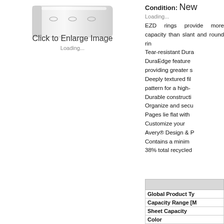[Figure (photo): Product image of an Avery binder/ring binder, white, shown from above-front angle, partially cropped at top of frame.]
Click to Enlarge Image
Loading...
Condition: New
Loading...
EZD rings provide more capacity than slant and round ring binders. Tear-resistant DuraEdge features DuraEdge features providing greater stability. Deeply textured film with diamond pattern for a high-quality look. Durable construction. Organize and secure pages. Pages lie flat with rings. Customize your binder with Avery® Design & Print. Contains a minimum of 38% total recycled.
|  |
| --- |
| Global Product Typ |
| Capacity Range [M |
| Sheet Capacity |
| Color |